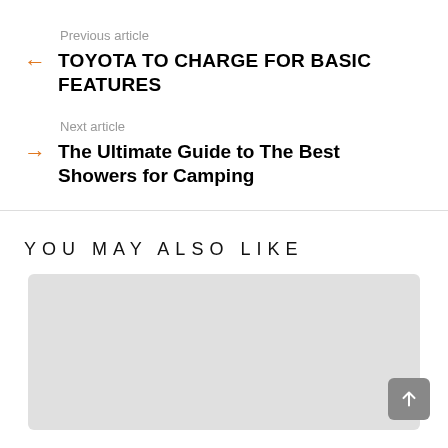Previous article
TOYOTA TO CHARGE FOR BASIC FEATURES
Next article
The Ultimate Guide to The Best Showers for Camping
YOU MAY ALSO LIKE
[Figure (photo): Gray placeholder image block for a related article]